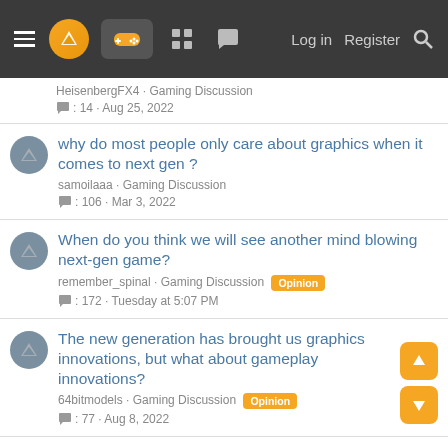Navigation bar with hamburger menu, logo, gaming controller icon, other icons, Log in, Register, Search
HeisenbergFX4 · Gaming Discussion
: 14 · Aug 25, 2022
why do most people only care about graphics when it comes to next gen ?
samoilaaa · Gaming Discussion
: 106 · Mar 3, 2022
When do you think we will see another mind blowing next-gen game?
remember_spinal · Gaming Discussion [Opinion]
: 172 · Tuesday at 5:07 PM
The new generation has brought us graphics innovations, but what about gameplay innovations?
64bitmodels · Gaming Discussion [Opinion]
: 77 · Aug 8, 2022